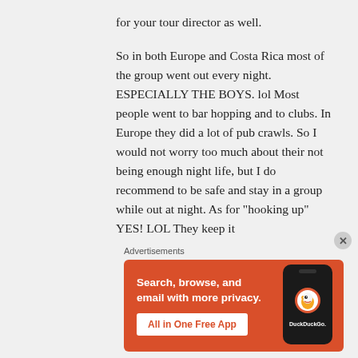for your tour director as well.
So in both Europe and Costa Rica most of the group went out every night. ESPECIALLY THE BOYS. lol Most people went to bar hopping and to clubs. In Europe they did a lot of pub crawls. So I would not worry too much about their not being enough night life, but I do recommend to be safe and stay in a group while out at night. As for "hooking up" YES! LOL They keep it
Advertisements
[Figure (screenshot): DuckDuckGo advertisement banner with orange background. Text reads: Search, browse, and email with more privacy. All in One Free App. Shows a smartphone with DuckDuckGo logo.]